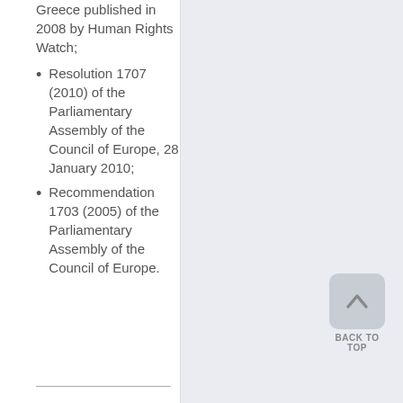Greece published in 2008 by Human Rights Watch;
Resolution 1707 (2010) of the Parliamentary Assembly of the Council of Europe, 28 January 2010;
Recommendation 1703 (2005) of the Parliamentary Assembly of the Council of Europe.